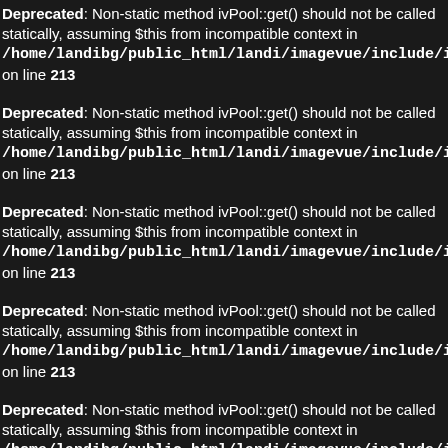Deprecated: Non-static method ivPool::get() should not be called statically, assuming $this from incompatible context in /home/landibg/public_html/landi/imagevue/include/ivFolder.cla on line 213
Deprecated: Non-static method ivPool::get() should not be called statically, assuming $this from incompatible context in /home/landibg/public_html/landi/imagevue/include/ivFolder.cla on line 213
Deprecated: Non-static method ivPool::get() should not be called statically, assuming $this from incompatible context in /home/landibg/public_html/landi/imagevue/include/ivFolder.cla on line 213
Deprecated: Non-static method ivPool::get() should not be called statically, assuming $this from incompatible context in /home/landibg/public_html/landi/imagevue/include/ivFolder.cla on line 213
Deprecated: Non-static method ivPool::get() should not be called statically, assuming $this from incompatible context in /home/landibg/public_html/landi/imagevue/include/ivFolder.cla on line 213
Deprecated: Non-static method ivPool::get() should not be called